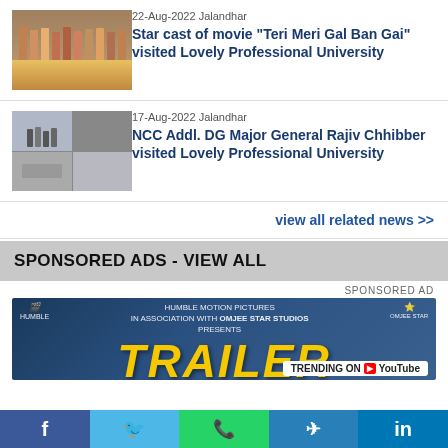[Figure (photo): Group photo of star cast on stage at Lovely Professional University]
22-Aug-2022 Jalandhar
Star cast of movie "Teri Meri Gal Ban Gai" visited Lovely Professional University
[Figure (photo): NCC event collage of four photos at Lovely Professional University]
17-Aug-2022 Jalandhar
NCC Addl. DG Major General Rajiv Chhibber visited Lovely Professional University
view all related news >>
SPONSORED ADS - VIEW ALL
SPONSORED AD
[Figure (photo): Movie trailer advertisement banner showing TRAILER text in yellow with Humble Motion Pictures and Omjee Star Studios branding, trending on YouTube]
f
Twitter
WhatsApp
Telegram
in